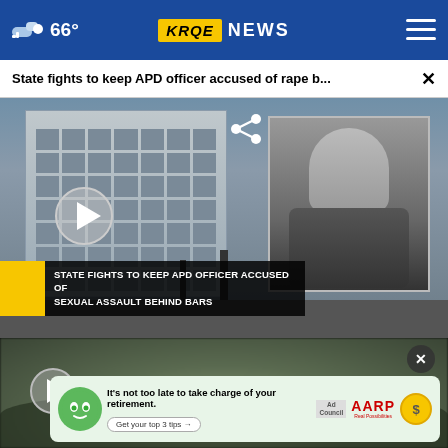66° KRQE NEWS
State fights to keep APD officer accused of rape b... ×
[Figure (screenshot): News video thumbnail showing a courthouse building on left with mugshot of male suspect on right, with lower-third chyron reading: STATE FIGHTS TO KEEP APD OFFICER ACCUSED OF SEXUAL ASSAULT BEHIND BARS. Play button visible on left side. Share icon in upper right area.]
[Figure (screenshot): Second video thumbnail showing a blurred crowd scene. Has a close X button and a play button overlay.]
[Figure (infographic): AARP advertisement banner with green mascot face, text reading: It's not too late to take charge of your retirement. Get your top 3 tips →. Ad Council and AARP Real Possibilities logos with dollar coin icon.]